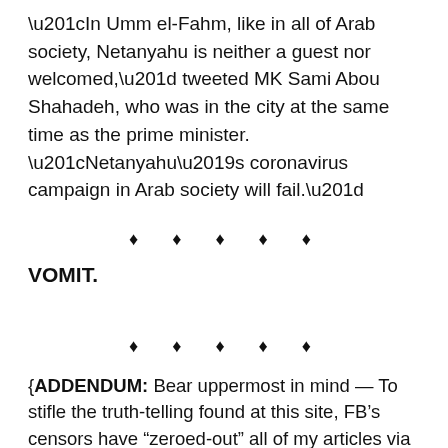“In Umm el-Fahm, like in all of Arab society, Netanyahu is neither a guest nor welcomed,” tweeted MK Sami Abou Shahadeh, who was in the city at the same time as the prime minister. “Netanyahu’s coronavirus campaign in Arab society will fail.”
♦ ♦ ♦ ♦ ♦
VOMIT.
♦ ♦ ♦ ♦ ♦
{ADDENDUM: Bear uppermost in mind — To stifle the truth-telling found at this site, FB’s censors have “zeroed-out” all of my articles via their “Boom and Ban” censors ala their ubiquitous “Community Standards” — as they hunt me up and down the internet like rabid dogs to their